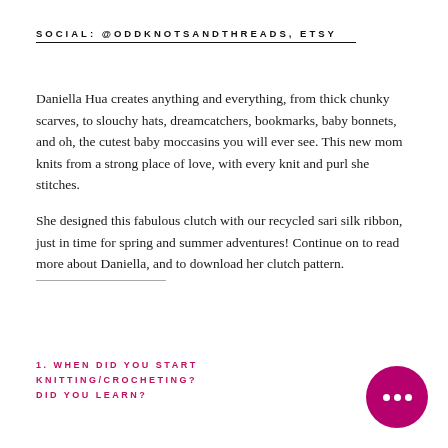SOCIAL: @ODDKNOTSANDTHREADS, ETSY
Daniella Hua creates anything and everything, from thick chunky scarves, to slouchy hats, dreamcatchers, bookmarks, baby bonnets, and oh, the cutest baby moccasins you will ever see. This new mom knits from a strong place of love, with every knit and purl she stitches.
She designed this fabulous clutch with our recycled sari silk ribbon, just in time for spring and summer adventures! Continue on to read more about Daniella, and to download her clutch pattern.
1. WHEN DID YOU START KNITTING/CROCHETING? WHERE DID YOU LEARN?